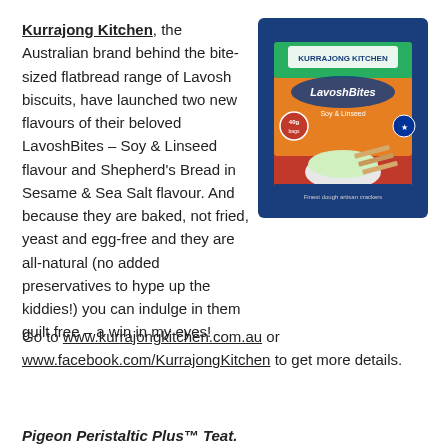Kurrajong Kitchen, the Australian brand behind the bite-sized flatbread range of Lavosh biscuits, have launched two new flavours of their beloved LavoshBites – Soy & Linseed flavour and Shepherd's Bread in Sesame & Sea Salt flavour. And because they are baked, not fried, yeast and egg-free and they are all-natural (no added preservatives to hype up the kiddies!) you can indulge in them guilt free – a win in my eyes!
[Figure (photo): Product box of Kurrajong Kitchen LavoshBites – Soy & Linseed flavour, showing crackers and dip on the box front.]
Go to www.kurrajongkitchen.com.au or www.facebook.com/KurrajongKitchen to get more details.
Pigeon Peristaltic Plus™ Teat.